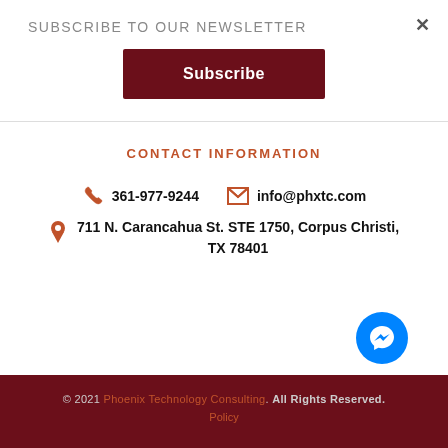SUBSCRIBE TO OUR NEWSLETTER
Subscribe
CONTACT INFORMATION
361-977-9244   info@phxtc.com
711 N. Carancahua St. STE 1750, Corpus Christi, TX 78401
© 2021 Phoenix Technology Consulting. All Rights Reserved.  Policy